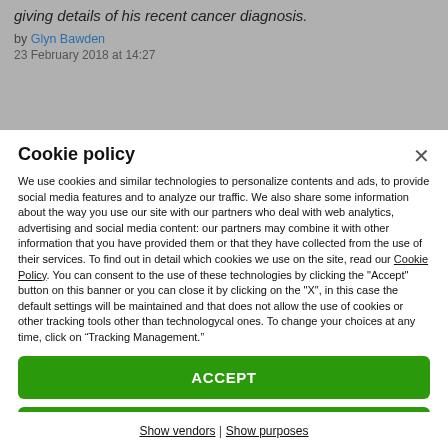giving details of his recent cancer diagnosis.
by Glyn Bawden
23 February 2018 at 14:27
Cookie policy
We use cookies and similar technologies to personalize contents and ads, to provide social media features and to analyze our traffic. We also share some information about the way you use our site with our partners who deal with web analytics, advertising and social media content: our partners may combine it with other information that you have provided them or that they have collected from the use of their services. To find out in detail which cookies we use on the site, read our Cookie Policy. You can consent to the use of these technologies by clicking the "Accept" button on this banner or you can close it by clicking on the "X", in this case the default settings will be maintained and that does not allow the use of cookies or other tracking tools other than technologycal ones. To change your choices at any time, click on “Tracking Management.”
ACCEPT
TRACKERS MANAGEMENT
Show vendors  |  Show purposes